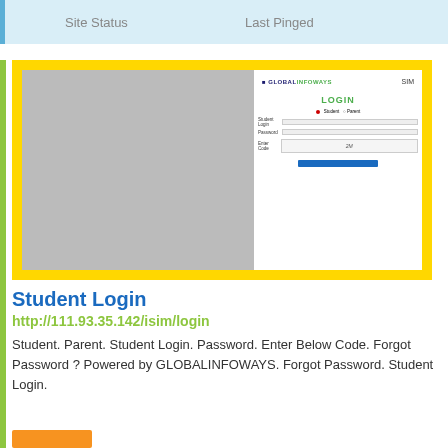| Site Status | Last Pinged |
| --- | --- |
[Figure (screenshot): Screenshot of GLOBALINFOWAYS SIM student login page with yellow background, gray image placeholder on left, and login form on right showing LOGIN heading, student/parent radio buttons, username/password fields, captcha, and submit button.]
Student Login
http://111.93.35.142/isim/login
Student. Parent. Student Login. Password. Enter Below Code. Forgot Password ? Powered by GLOBALINFOWAYS. Forgot Password. Student Login.